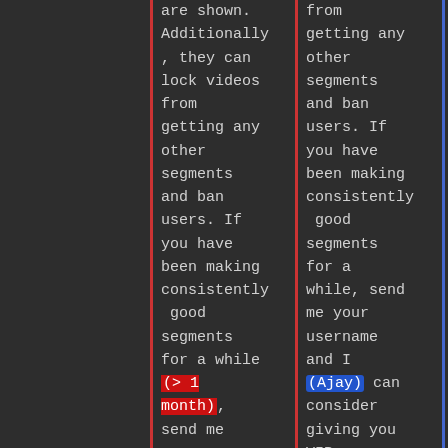are shown. Additionally, they can lock videos from getting any other segments and ban users. If you have been making consistently good segments for a while (&gt; 1 month), send me your username and I can
from getting any other segments and ban users. If you have been making consistently good segments for a while, send me your username and I (Ajay) can consider giving you VIP.